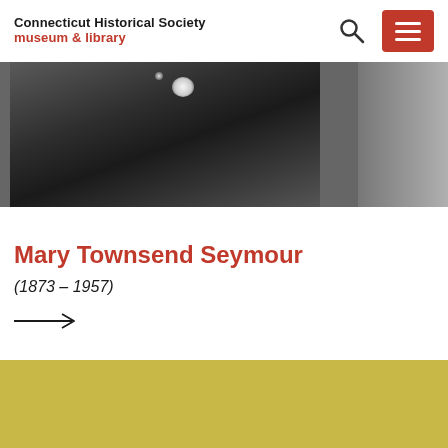Connecticut Historical Society museum & library
[Figure (photo): Grayscale historical photograph, partially cropped, showing a dark textured surface with a bright white glowing spot near the top center, and a lighter grey area on the right side]
Mary Townsend Seymour
(1873 – 1957)
[Figure (other): Right-pointing arrow icon (→)]
[Figure (photo): Bottom portion of a golden-yellow colored image, partially visible]